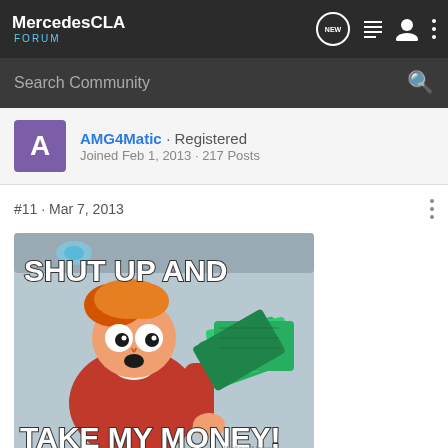MercedesCLA FORUM
Search Community
AMG4Matic · Registered
Joined Feb 1, 2013 · 217 Posts
#11 · Mar 7, 2013
[Figure (photo): Futurama Fry meme with text 'SHUT UP AND TAKE MY MONEY!' and watermark 'WeKnowMemes']